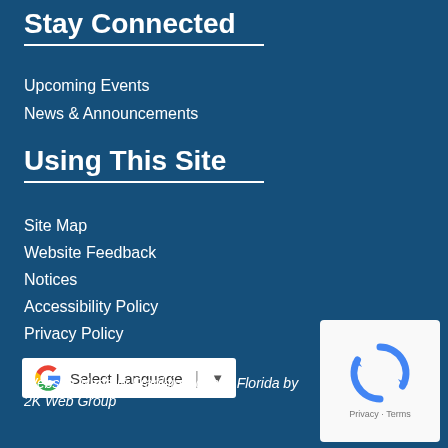Stay Connected
Upcoming Events
News & Announcements
Using This Site
Site Map
Website Feedback
Notices
Accessibility Policy
Privacy Policy
[Figure (other): Google Translate widget with Select Language dropdown]
Website Made in Franklin County, Florida by 2K Web Group
[Figure (other): reCAPTCHA logo with Privacy and Terms links]